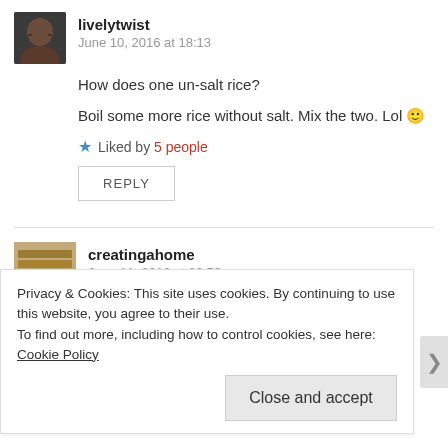[Figure (photo): Avatar photo of livelytwist commenter, a woman with glasses]
livelytwist
June 10, 2016 at 18:13
How does one un-salt rice?
Boil some more rice without salt. Mix the two. Lol 🙂
★ Liked by 5 people
REPLY
[Figure (photo): Avatar photo of creatingahome commenter showing stacked items]
creatingahome
June 11, 2016 at 00:56
And then have loads of rice with no one to eat it.
Privacy & Cookies: This site uses cookies. By continuing to use this website, you agree to their use.
To find out more, including how to control cookies, see here: Cookie Policy
Close and accept